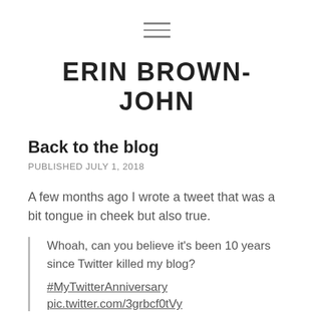≡ (hamburger menu icon)
ERIN BROWN-JOHN
Back to the blog
PUBLISHED JULY 1, 2018
A few months ago I wrote a tweet that was a bit tongue in cheek but also true.
Whoah, can you believe it's been 10 years since Twitter killed my blog? #MyTwitterAnniversary pic.twitter.com/3grbcf0tVy